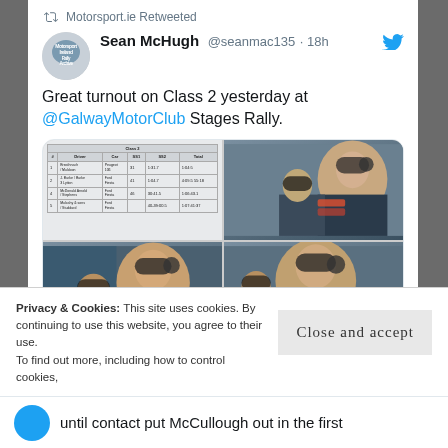Motorsport.ie Retweeted
Sean McHugh @seanmac135 · 18h
Great turnout on Class 2 yesterday at @GalwayMotorClub Stages Rally.
[Figure (photo): A 2x2 grid of images: top-left shows a results table for Class 2 rally, top-right and bottom-left and bottom-right show rally co-drivers/drivers wearing helmets and racing gear inside a rally car.]
Motorsport Ireland and 9 others
7 (heart icon and comment icon)
Privacy & Cookies: This site uses cookies. By continuing to use this website, you agree to their use.
To find out more, including how to control cookies,
Close and accept
until contact put McCullough out in the first